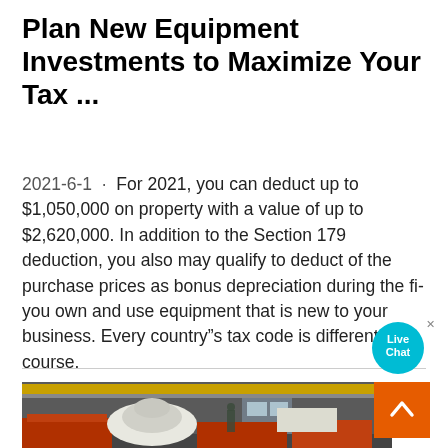Plan New Equipment Investments to Maximize Your Tax ...
2021-6-1 · For 2021, you can deduct up to $1,050,000 on property with a value of up to $2,620,000. In addition to the Section 179 deduction, you also may qualify to deduct of the purchase prices as bonus depreciation during the fi... you own and use equipment that is new to your business. Every country"s tax code is different, of course.
[Figure (photo): Industrial factory interior showing heavy mining or crushing equipment on red transport frames, with overhead crane beams visible in the background.]